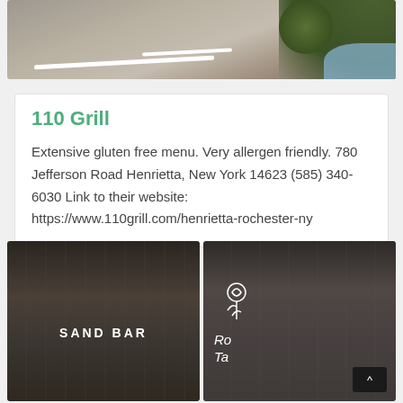[Figure (photo): Aerial or street-level photo of a parking lot or road with landscaping and shrubs]
110 Grill
Extensive gluten free menu. Very allergen friendly. 780 Jefferson Road Henrietta, New York 14623 (585) 340-6030 Link to their website: https://www.110grill.com/henrietta-rochester-ny
[Figure (photo): Interior photo of Sand Bar restaurant with dark ambiance and the text 'SAND BAR' overlaid]
[Figure (photo): Interior photo of a restaurant with a rose logo and partial text 'Ro Ta' with a caret/arrow button overlay]